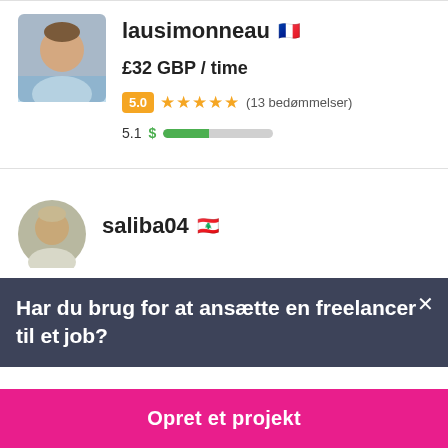[Figure (photo): Profile photo of lausimonneau, a man, square avatar]
lausimonneau 🇫🇷
£32 GBP / time
5.0 ★★★★★ (13 bedømmelser)
5.1 $ [progress bar]
[Figure (photo): Profile photo of saliba04, circular avatar]
saliba04 🇱🇧
Har du brug for at ansætte en freelancer til et job?
Opret et projekt